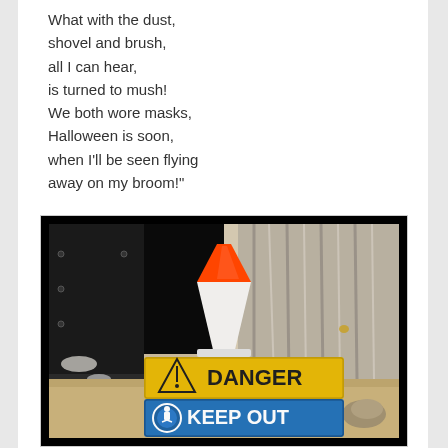What with the dust,
shovel and brush,
all I can hear,
is turned to mush!
We both wore masks,
Halloween is soon,
when I'll be seen flying
away on my broom!"
[Figure (photo): A traffic cone with orange top and white base sits on top of a yellow and blue 'DANGER / KEEP OUT' warning sign, placed in front of dark metal corrugated sheeting near sandy ground.]